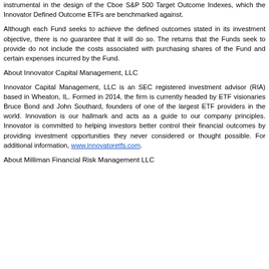instrumental in the design of the Cboe S&P 500 Target Outcome Indexes, which the Innovator Defined Outcome ETFs are benchmarked against.
Although each Fund seeks to achieve the defined outcomes stated in its investment objective, there is no guarantee that it will do so. The returns that the Funds seek to provide do not include the costs associated with purchasing shares of the Fund and certain expenses incurred by the Fund.
About Innovator Capital Management, LLC
Innovator Capital Management, LLC is an SEC registered investment advisor (RIA) based in Wheaton, IL. Formed in 2014, the firm is currently headed by ETF visionaries Bruce Bond and John Southard, founders of one of the largest ETF providers in the world. Innovation is our hallmark and acts as a guide to our company principles. Innovator is committed to helping investors better control their financial outcomes by providing investment opportunities they never considered or thought possible. For additional information, www.innovatoretfs.com.
About Milliman Financial Risk Management LLC